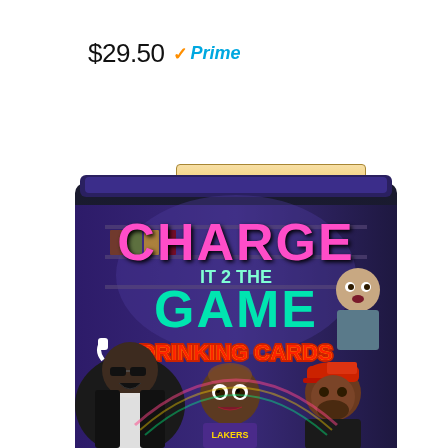$29.50 ✓Prime
Buy on Amazon
[Figure (photo): Product box for 'Charge It 2 The Game Drinking Cards' showing animated cartoon characters including figures resembling hip-hop artists, with colorful pink and teal text on a dark background.]